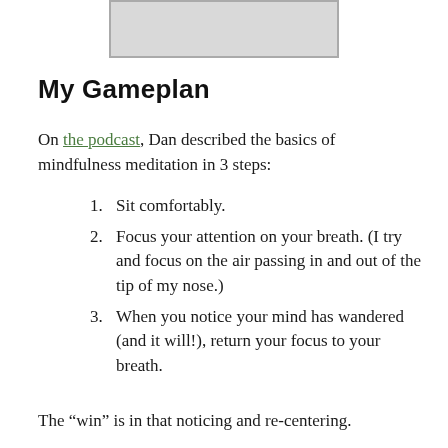[Figure (other): A partially visible gray image/screenshot box at the top of the page]
My Gameplan
On the podcast, Dan described the basics of mindfulness meditation in 3 steps:
1. Sit comfortably.
2. Focus your attention on your breath. (I try and focus on the air passing in and out of the tip of my nose.)
3. When you notice your mind has wandered (and it will!), return your focus to your breath.
The “win” is in that noticing and re-centering.